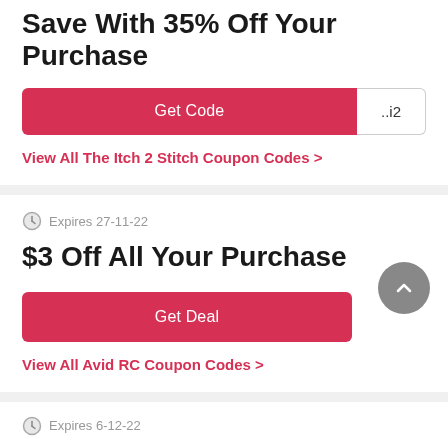Save With 35% Off Your Purchase
[Figure (other): Red 'Get Code' button with code reveal showing '..i2']
View All The Itch 2 Stitch Coupon Codes >
Expires 27-11-22
$3 Off All Your Purchase
[Figure (other): Red 'Get Deal' button]
View All Avid RC Coupon Codes >
Expires 6-12-22